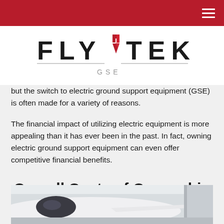FLY TEK GSE
but the switch to electric ground support equipment (GSE) is often made for a variety of reasons.
The financial impact of utilizing electric equipment is more appealing than it has ever been in the past. In fact, owning electric ground support equipment can even offer competitive financial benefits.
Overall Costs of Ownership
[Figure (photo): Aircraft nose and cockpit in a hangar, white aircraft on ground, interior hangar lighting visible]